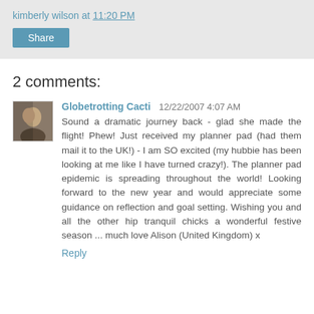kimberly wilson at 11:20 PM
Share
2 comments:
Globetrotting Cacti 12/22/2007 4:07 AM
Sound a dramatic journey back - glad she made the flight! Phew! Just received my planner pad (had them mail it to the UK!) - I am SO excited (my hubbie has been looking at me like I have turned crazy!). The planner pad epidemic is spreading throughout the world! Looking forward to the new year and would appreciate some guidance on reflection and goal setting. Wishing you and all the other hip tranquil chicks a wonderful festive season ... much love Alison (United Kingdom) x
Reply